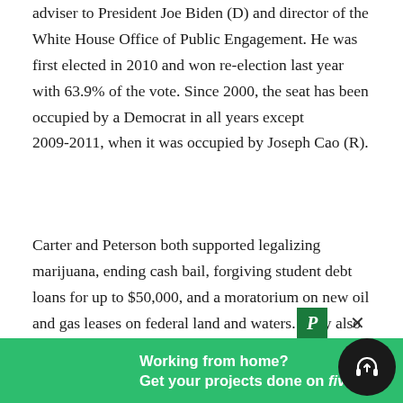adviser to President Joe Biden (D) and director of the White House Office of Public Engagement. He was first elected in 2010 and won re-election last year with 63.9% of the vote. Since 2000, the seat has been occupied by a Democrat in all years except 2009-2011, when it was occupied by Joseph Cao (R).
Carter and Peterson both supported legalizing marijuana, ending cash bail, forgiving student debt loans for up to $50,000, and a moratorium on new oil and gas leases on federal land and waters. They also supported increasing the federal minimum wage but disagreed on what it should be raised to. Carter supported... Peterson said she would support raising it to $20 per
[Figure (other): Advertisement overlay: Green banner reading 'Working from home? Get your projects done on fiverr' with a Fiverr logo. A dark circle with a headphone icon is visible at the bottom right. A green 'P' badge and an 'x' close button appear above the banner.]